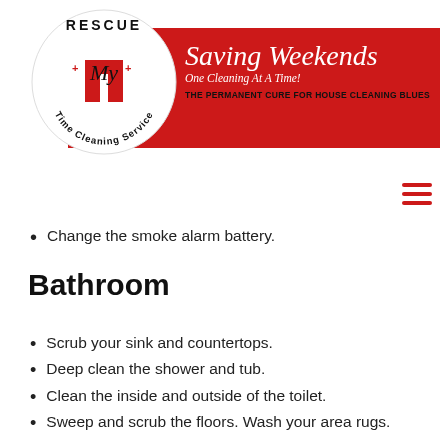[Figure (logo): Rescue My Time Cleaning Service logo — circular badge with red cross and cursive 'My' text, with red banner reading 'Saving Weekends One Cleaning At A Time! THE PERMANENT CURE FOR HOUSE CLEANING BLUES']
Change the smoke alarm battery.
Bathroom
Scrub your sink and countertops.
Deep clean the shower and tub.
Clean the inside and outside of the toilet.
Sweep and scrub the floors. Wash your area rugs.